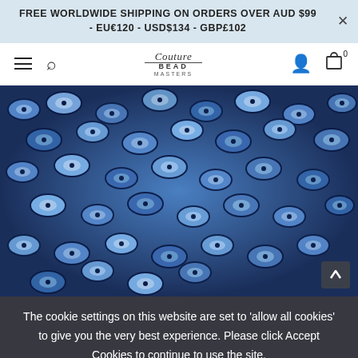FREE WORLDWIDE SHIPPING ON ORDERS OVER AUD $99 - EU€120 - USD$134 - GBP£102
[Figure (logo): Couture Bead Masters logo in center of navigation bar]
[Figure (photo): Close-up photo of shiny metallic blue rondelle beads filling the frame]
The cookie settings on this website are set to 'allow all cookies' to give you the very best experience. Please click Accept Cookies to continue to use the site.
PRIVACY POLICY  ACCEPT ✓